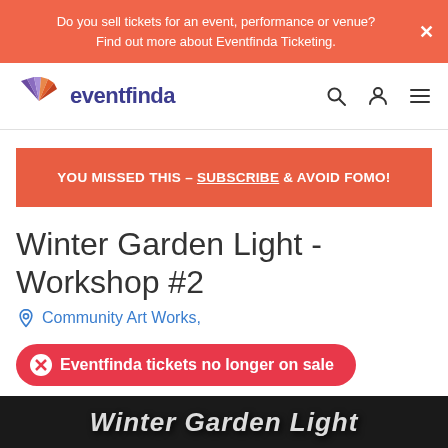Do you sell tickets for an event, performance or venue? Find out more about Eventfinda Ticketing.
[Figure (logo): Eventfinda logo with colorful fan/shield icon and purple text]
YOU MISSED THIS – SUBSCRIBE & AVOID FOMO!
Winter Garden Light - Workshop #2
Community Art Works,
Eventfinda tickets no longer on sale
[Figure (photo): Partial view of Winter Garden Light event image, dark background with stylized text]